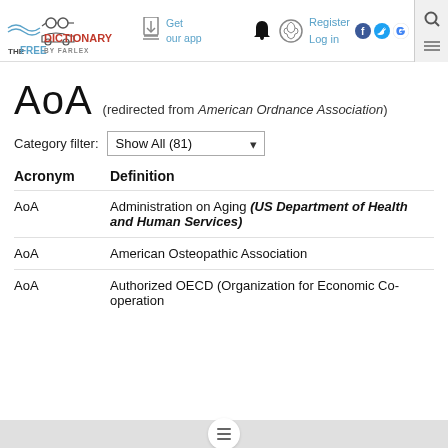THE FREE DICTIONARY by Farlex — Get our app — Register Log in
AoA (redirected from American Ordnance Association)
Category filter: Show All (81)
| Acronym | Definition |
| --- | --- |
| AoA | Administration on Aging (US Department of Health and Human Services) |
| AoA | American Osteopathic Association |
| AoA | Authorized OECD (Organization for Economic Co-operation |